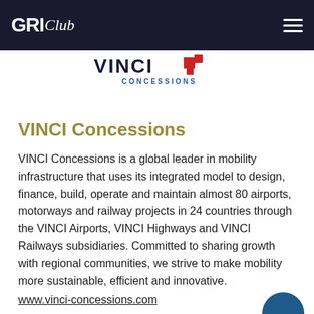GRI Club
[Figure (logo): VINCI Concessions logo with dark blue VINCI text and red geometric icon, CONCESSIONS in blue below]
VINCI Concessions
VINCI Concessions is a global leader in mobility infrastructure that uses its integrated model to design, finance, build, operate and maintain almost 80 airports, motorways and railway projects in 24 countries through the VINCI Airports, VINCI Highways and VINCI Railways subsidiaries. Committed to sharing growth with regional communities, we strive to make mobility more sustainable, efficient and innovative.
www.vinci-concessions.com